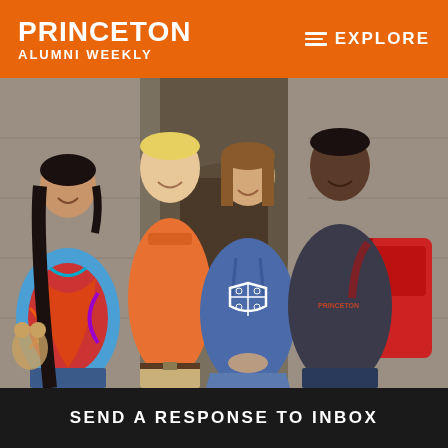PRINCETON ALUMNI WEEKLY
EXPLORE
[Figure (photo): Four Princeton University students smiling and standing in front of a Gothic stone archway. From left: a young Asian woman in a colorful tie-dye shirt holding a stuffed animal; a tall young man in an orange polo shirt; a young woman in a blue Princeton hoodie with the university shield logo; a young man in a dark Princeton sweatshirt carrying a red backpack.]
SEND A RESPONSE TO INBOX